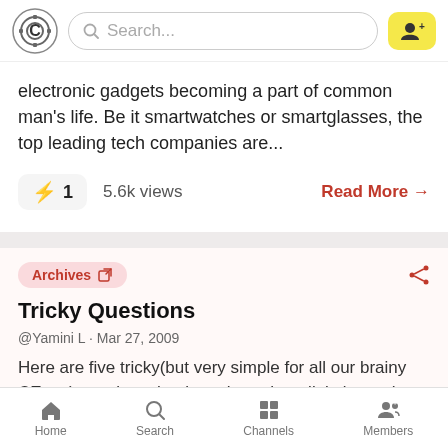CE logo, Search bar, User button
electronic gadgets becoming a part of common man's life. Be it smartwatches or smartglasses, the top leading tech companies are...
⚡ 1   5.6k views   Read More →
Archives 🔗
Tricky Questions
@Yamini L · Mar 27, 2009
Here are five tricky(but very simple for all our brainy CEans)questions that i got through mail .let's see how many
Home   Search   Channels   Members